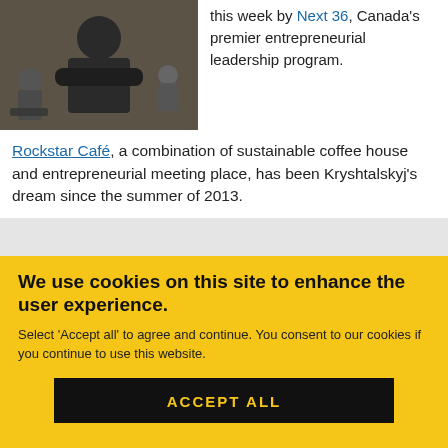[Figure (photo): Person with arms crossed, students with laptops in background]
this week by Next 36, Canada’s premier entrepreneurial leadership program.
Rockstar Café, a combination of sustainable coffee house and entrepreneurial meeting place, has been Kryshtalskyj’s dream since the summer of 2013.
We use cookies on this site to enhance the user experience.
Select ‘Accept all’ to agree and continue. You consent to our cookies if you continue to use this website.
ACCEPT ALL